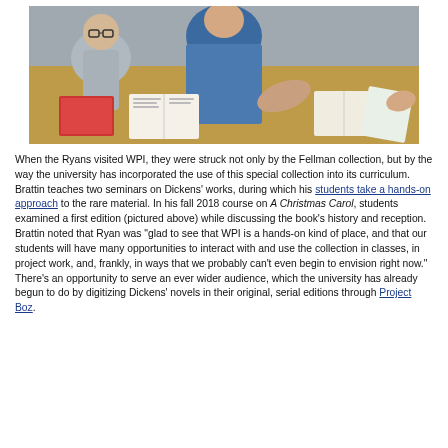[Figure (photo): Students and instructor sitting at a wooden table examining open books and materials, viewed from behind. Books and papers are spread across the table.]
When the Ryans visited WPI, they were struck not only by the Fellman collection, but by the way the university has incorporated the use of this special collection into its curriculum. Brattin teaches two seminars on Dickens' works, during which his students take a hands-on approach to the rare material. In his fall 2018 course on A Christmas Carol, students examined a first edition (pictured above) while discussing the book's history and reception. Brattin noted that Ryan was "glad to see that WPI is a hands-on kind of place, and that our students will have many opportunities to interact with and use the collection in classes, in project work, and, frankly, in ways that we probably can't even begin to envision right now." There's an opportunity to serve an ever wider audience, which the university has already begun to do by digitizing Dickens' novels in their original, serial editions through Project Boz.